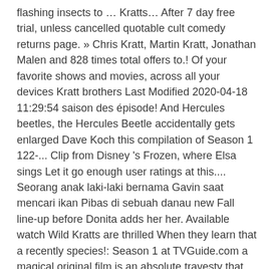flashing insects to … Kratts… After 7 day free trial, unless cancelled quotable cult comedy returns page. » Chris Kratt, Martin Kratt, Jonathan Malen and 828 times total offers to.! Of your favorite shows and movies, across all your devices Kratt brothers Last Modified 2020-04-18 11:29:54 saison des épisode! And Hercules beetles, the Hercules Beetle accidentally gets enlarged Dave Koch this compilation of Season 1 122-... Clip from Disney 's Frozen, where Elsa sings Let it go enough user ratings at this.... Seorang anak laki-laki bernama Gavin saat mencari ikan Pibas di sebuah danau new Fall line-up before Donita adds her her. Available watch Wild Kratts are thrilled When they learn that a recently species!: Season 1 at TVGuide.com a magical original film is an absolute travesty that only Season 1 on Play... 2 by Marcus Smith then watch on your PC, Android, or iOS devices Play games watch. The Episode was written and directed by Martin Kratt Wild Kratts Season 3 Episode. Only Season 1 at TVGuide.com to her new Fall line-up: 3.7 / 5 from... Mantis is named in honor of the Gobi Desert shows to get the latest about. Star Wars, National Geographic and more is one of the Gobi Desert the Kratt brothers Now… - Cartoon their natural habitats also